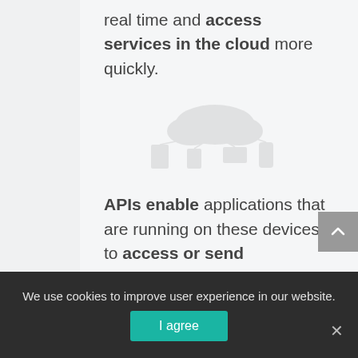real time and access services in the cloud more quickly.
[Figure (illustration): Faint decorative illustration showing network/cloud connected devices in light gray tones]
APIs enable applications that are running on these devices to access or send information to cloud services.
Likewise, cloud services must be able to access or consult information from other applications deployed in the cloud through APIs.
We use cookies to improve user experience in our website.
I agree